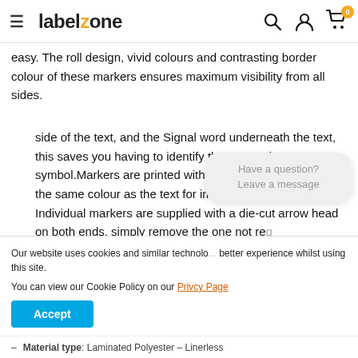labelzone
easy. The roll design, vivid colours and contrasting border colour of these markers ensures maximum visibility from all sides.
side of the text, and the Signal word underneath the text, this saves you having to identify the appropriate symbol.Markers are printed with a contrasting border in the same colour as the text for improved visibility. Individual markers are supplied with a die-cut arrow head on both ends, simply remove the one not req...
Our website uses cookies and similar technolo... better experience whilst using this site.

You can view our Cookie Policy on our Privcy Page
Material type: Laminated Polyester – Linerless